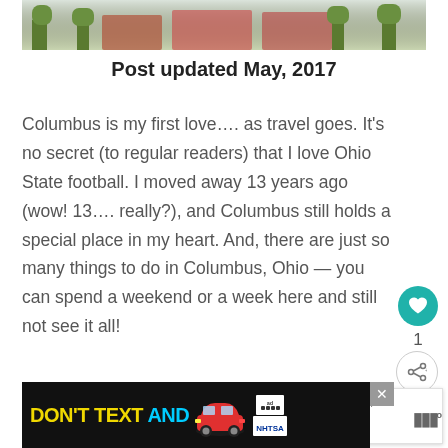[Figure (photo): Top portion of an outdoor scene photo, showing trees and people at what appears to be a market or event with red umbrellas/tents]
Post updated May, 2017
Columbus is my first love…. as travel goes. It's no secret (to regular readers) that I love Ohio State football. I moved away 13 years ago (wow! 13…. really?), and Columbus still holds a special place in my heart. And, there are just so many things to do in Columbus, Ohio — you can spend a weekend or a week here and still not see it all!
[Figure (photo): Advertisement banner: DON'T TEXT AND [drive] with red car illustration and NHTSA logo]